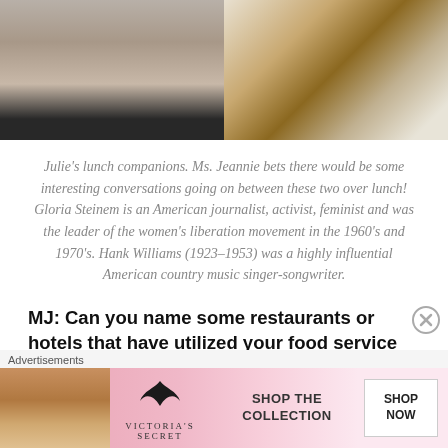[Figure (photo): Two photos side by side: left shows a woman with short blonde-gray hair wearing a dark top, cropped at chin/neck; right shows someone playing an acoustic guitar with sheet music visible in background.]
Julie's lunch companions. Ms. Jeannie bets there would be some interesting conversations going on between these two over lunch!  Gloria Steinem is an American journalist, activist, feminist and was the leader of the women's liberation movement in the 1960's and 1970's. Hank Williams (1923-1953) was a highly influential American country music singer-songwriter.
MJ: Can you name some restaurants or hotels that have utilized your food service supply line?
[Figure (screenshot): Victoria's Secret advertisement banner with a model on the left, VS logo in center, 'SHOP THE COLLECTION' text, and 'SHOP NOW' button on right, on a pink background. Labeled 'Advertisements' above.]